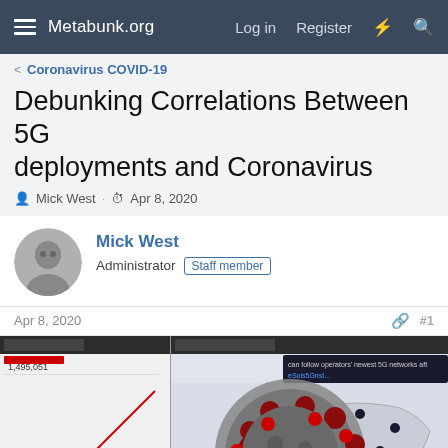Metabunk.org  Log in  Register
< Coronavirus COVID-19
Debunking Correlations Between 5G deployments and Coronavirus
Mick West · Apr 8, 2020
Mick West
Administrator  Staff member
Apr 8, 2020  #1
[Figure (screenshot): Screenshot showing a COVID-19 tracker dashboard on the left and a 5G network map on the right, with a coronavirus particle image overlaid in the center]